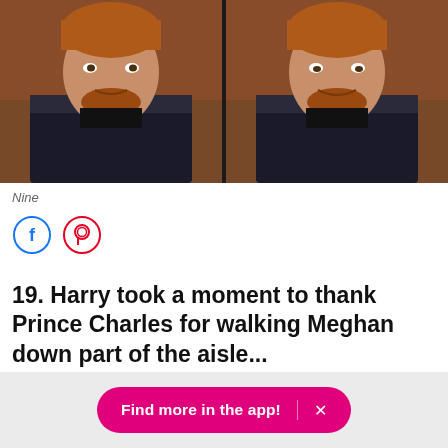[Figure (photo): Two side-by-side photos of Prince Harry in a dark military uniform, slightly smiling]
Nine
[Figure (infographic): Social share buttons: Facebook (blue circle) and Pinterest (red circle)]
19. Harry took a moment to thank Prince Charles for walking Meghan down part of the aisle...
[Figure (infographic): App download banner with pink button 'Find more in the app!' and X close button]